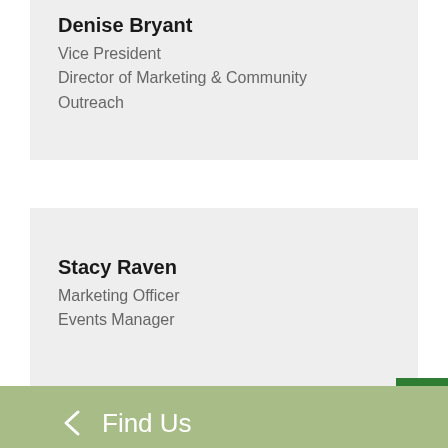Denise Bryant
Vice President
Director of Marketing & Community Outreach
Stacy Raven
Marketing Officer
Events Manager
Find Us